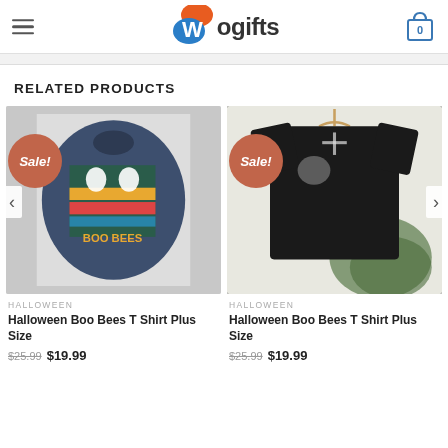Wogifts
RELATED PRODUCTS
[Figure (photo): Halloween Boo Bees T Shirt on a dark navy shirt laid flat with accessories, Sale badge visible]
HALLOWEEN
Halloween Boo Bees T Shirt Plus Size
$25.99  $19.99
[Figure (photo): Halloween Boo Bees T Shirt on a black shirt on a hanger with greenery, Sale badge visible]
HALLOWEEN
Halloween Boo Bees T Shirt Plus Size
$25.99  $19.99